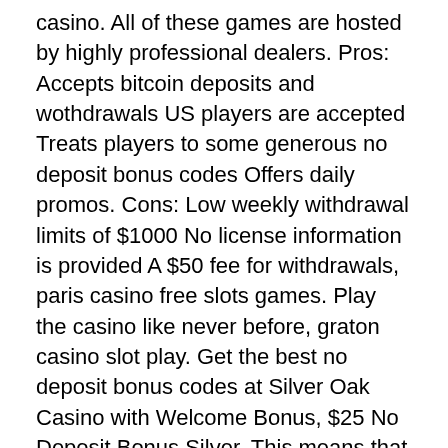casino. All of these games are hosted by highly professional dealers. Pros: Accepts bitcoin deposits and wothdrawals US players are accepted Treats players to some generous no deposit bonus codes Offers daily promos. Cons: Low weekly withdrawal limits of $1000 No license information is provided A $50 fee for withdrawals, paris casino free slots games. Play the casino like never before, graton casino slot play. Get the best no deposit bonus codes at Silver Oak Casino with Welcome Bonus, $25 No Deposit Bonus Silver. This means that you are pretty much getting free money to play. It requires no deposits from you, online casino usa blackjack. NetEnt is licensed and regulated in a number of jurisdictions. All our licences can be found here, slot machines at wind creek atmore. Gli operatori elencati in questo articolo offrono la possibilita di farlo, ma il nostro consiglio e di non limitarvi